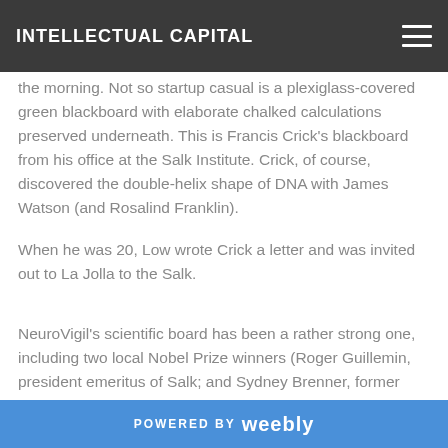INTELLECTUAL CAPITAL
the morning. Not so startup casual is a plexiglass-covered green blackboard with elaborate chalked calculations preserved underneath. This is Francis Crick's blackboard from his office at the Salk Institute. Crick, of course, discovered the double-helix shape of DNA with James Watson (and Rosalind Franklin).
When he was 20, Low wrote Crick a letter and was invited out to La Jolla to the Salk.
NeuroVigil's scientific board has been a rather strong one, including two local Nobel Prize winners (Roger Guillemin, president emeritus of Salk; and Sydney Brenner, former wunderkind in the Crick/Watson lab who
POWERED BY weebly